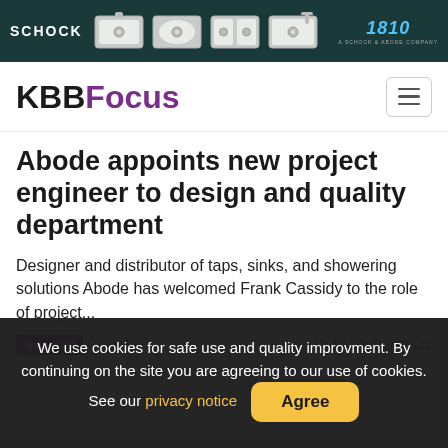[Figure (logo): Schock brand banner with sink product images and 1810 company logo on dark teal background]
[Figure (logo): KBBFocus website logo with black KBB and purple Focus text, and hamburger menu icon]
Abode appoints new project engineer to design and quality department
Designer and distributor of taps, sinks, and showering solutions Abode has welcomed Frank Cassidy to the role of project...
New Hire   People   Wed 15th Dec 2021
We use cookies for safe use and quality improvment. By continuing on the site you are agreeing to our use of cookies. See our privacy notice   Agree